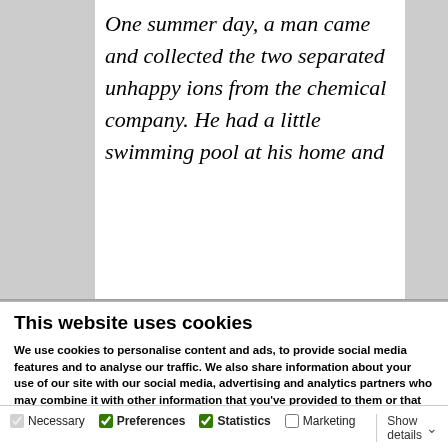One summer day, a man came and collected the two separated unhappy ions from the chemical company. He had a little swimming pool at his home and
This website uses cookies
We use cookies to personalise content and ads, to provide social media features and to analyse our traffic. We also share information about your use of our site with our social media, advertising and analytics partners who may combine it with other information that you've provided to them or that they've collected from your use of their services.
Allow all cookies
Allow selection
Use necessary cookies only
Necessary
Preferences
Statistics
Marketing
Show details